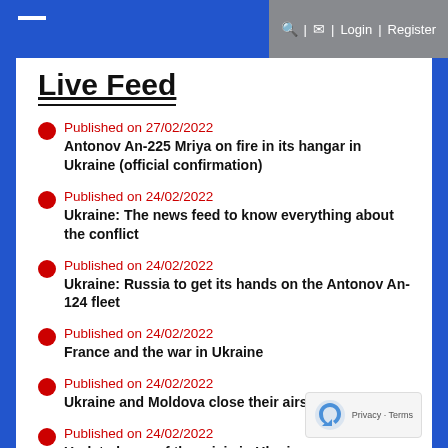🔍 | ✉ | Login | Register
Live Feed
Published on 27/02/2022
Antonov An-225 Mriya on fire in its hangar in Ukraine (official confirmation)
Published on 24/02/2022
Ukraine: The news feed to know everything about the conflict
Published on 24/02/2022
Ukraine: Russia to get its hands on the Antonov An-124 fleet
Published on 24/02/2022
France and the war in Ukraine
Published on 24/02/2022
Ukraine and Moldova close their airspace
Published on 24/02/2022
Updated map of the crisis in Ukraine